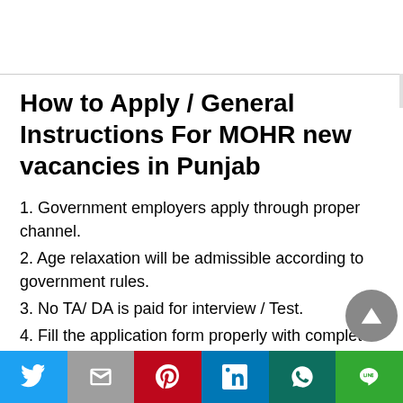How to Apply / General Instructions For MOHR new vacancies in Punjab
1. Government employers apply through proper channel.
2. Age relaxation will be admissible according to government rules.
3. No TA/ DA is paid for interview / Test.
4. Fill the application form properly with complete